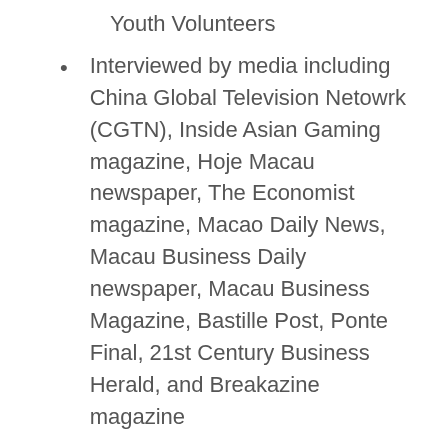Youth Volunteers
Interviewed by media including China Global Television Netowrk (CGTN), Inside Asian Gaming magazine, Hoje Macau newspaper, The Economist magazine, Macao Daily News, Macau Business Daily newspaper, Macau Business Magazine, Bastille Post, Ponte Final, 21st Century Business Herald, and Breakazine magazine
Investigators of consultancy projects commissioned by different Macao S.A.R. Government Departments including the Secretariat of Economy and Finance, the